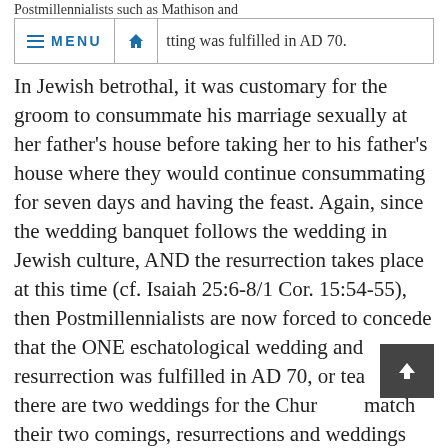Postmillennialists such as Mathison and
[Figure (screenshot): Navigation bar with menu icon and MENU text, home icon, and partial text 'tting was fulfilled in AD 70.']
In Jewish betrothal, it was customary for the groom to consummate his marriage sexually at her father's house before taking her to his father's house where they would continue consummating for seven days and having the feast. Again, since the wedding banquet follows the wedding in Jewish culture, AND the resurrection takes place at this time (cf. Isaiah 25:6-8/1 Cor. 15:54-55), then Postmillennialists are now forced to concede that the ONE eschatological wedding and resurrection was fulfilled in AD 70, or teach that there are two weddings for the Church to match their two comings, resurrections and weddings with that of Dispensationalism's